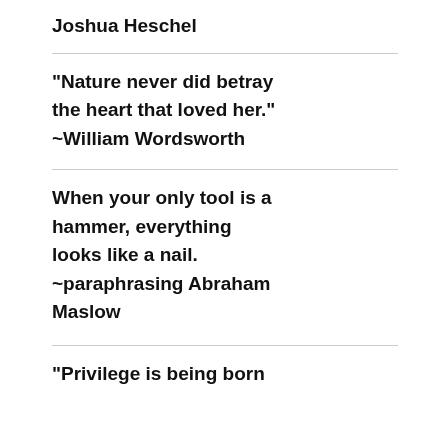Joshua Heschel
“Nature never did betray the heart that loved her.” ~William Wordsworth
When your only tool is a hammer, everything looks like a nail. ~paraphrasing Abraham Maslow
“Privilege is being born